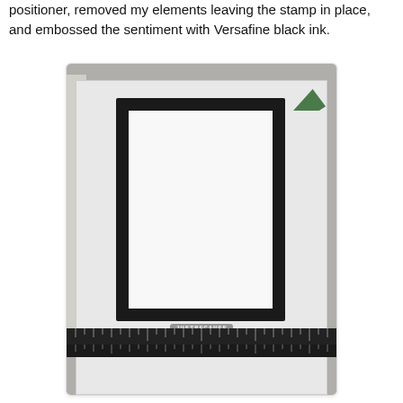positioner, removed my elements leaving the stamp in place, and embossed the sentiment with Versafine black ink.
[Figure (photo): A photograph showing a white card with a thick black stamped border frame sitting on a white stamping platform/mat, surrounded by a gray cutting mat with rulers along the bottom. A small green piece of material is visible in the upper right. Embossed text (sentiment) is visible near the bottom center of the card. The stamping platform has a handle on the left side.]